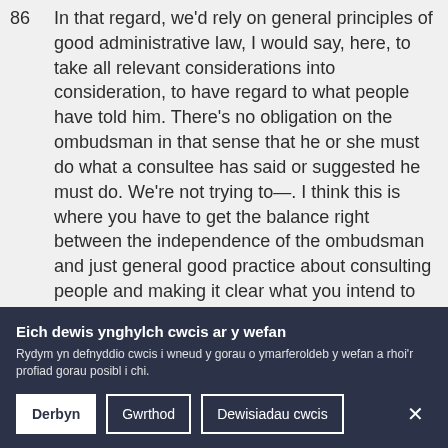86  In that regard, we'd rely on general principles of good administrative law, I would say, here, to take all relevant considerations into consideration, to have regard to what people have told him. There's no obligation on the ombudsman in that sense that he or she must do what a consultee has said or suggested he must do. We're not trying to—. I think this is where you have to get the balance right between the independence of the ombudsman and just general good practice about consulting people and making it clear what you intend to do, but in that regard we haven't gone any further because we think there's a need sometimes for an independent voice in this area.
Eich dewis ynghylch cwcis ar y wefan
Rydym yn defnyddio cwcis i wneud y gorau o ymarferoldeb y wefan a rhoi'r profiad gorau posibl i chi.
Derbyn
Gwrthod
Dewisiadau cwcis